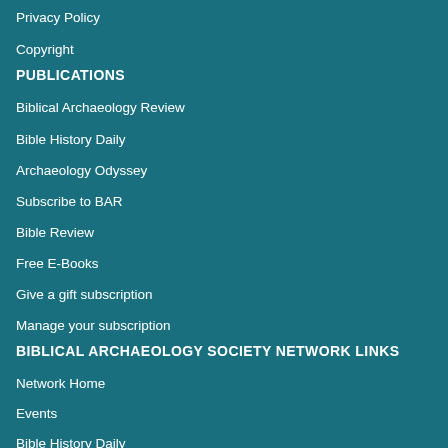Privacy Policy
Copyright
PUBLICATIONS
Biblical Archaeology Review
Bible History Daily
Archaeology Odyssey
Subscribe to BAR
Bible Review
Free E-Books
Give a gift subscription
Manage your subscription
BIBLICAL ARCHAEOLOGY SOCIETY NETWORK LINKS
Network Home
Events
Bible History Daily
Donate
Biblical Archaeology Review